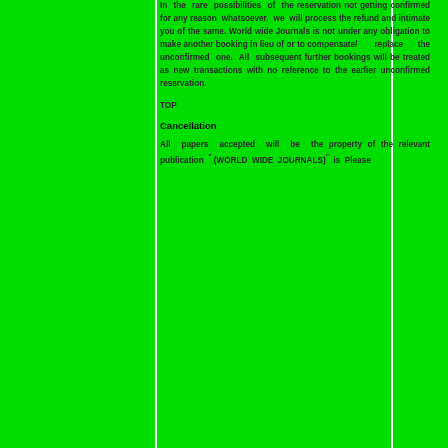In the rare possibilities of the reservation not getting confirmed for any reason whatsoever, we will process the refund and intimate you of the same. World wide Journals is not under any obligation to make another booking in lieu of or to compensate/ replace the unconfirmed one. All subsequent further bookings will be treated as new transactions with no reference to the earlier unconfirmed reservation.
TOP
Cancellation
All papers accepted will be the property of the relevant publication " (WORLD WIDE JOURNALS)" is Please